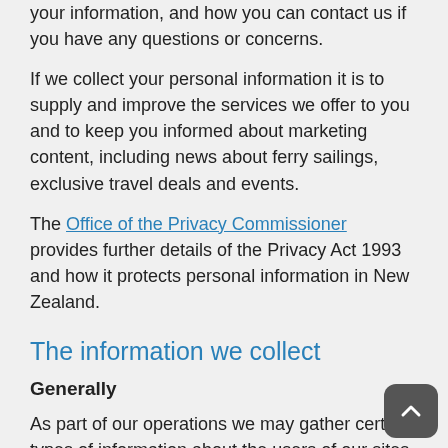your information, and how you can contact us if you have any questions or concerns.
If we collect your personal information it is to supply and improve the services we offer to you and to keep you informed about marketing content, including news about ferry sailings, exclusive travel deals and events.
The Office of the Privacy Commissioner provides further details of the Privacy Act 1993 and how it protects personal information in New Zealand.
The information we collect
Generally
As part of our operations we may gather certain types of information about the users of our sites or services:
Personal information. "Personal information" is